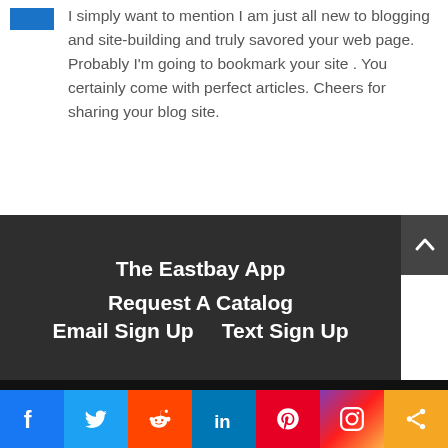I simply want to mention I am just all new to blogging and site-building and truly savored your web page. Probably I'm going to bookmark your site . You certainly come with perfect articles. Cheers for sharing your blog site.
The Eastbay App
Request A Catalog
Email Sign Up    Text Sign Up
[Figure (infographic): Social media icons row: Facebook, Twitter, Google+, Instagram, RSS. Copyright @2020 Eastbay.]
Share bar with Facebook, Twitter, Reddit, LinkedIn, Pinterest, Instagram, Share icons